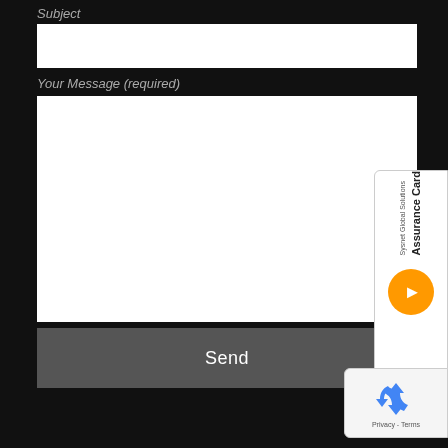Subject
Your Message (required)
Send
[Figure (screenshot): Sysnet Global Solutions Assurance Card overlay panel with orange arrow button, partially visible on right side]
[Figure (screenshot): Google reCAPTCHA widget with recycling arrows logo and Privacy - Terms links, partially visible bottom right]